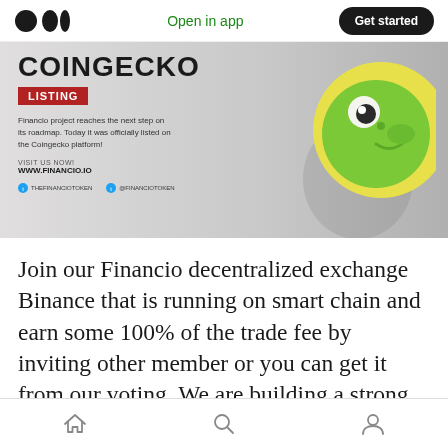Medium logo | Open in app | Get started
[Figure (screenshot): CoinGecko listing banner for Financio project. Shows 'COINGECKO' in large bold letters with a red 'LISTING' badge below, text stating the Financio project has been officially listed on the Coingecko platform. Includes 'VISIT US NOW! WWW.FINANCIO.IO' and social media handles. A green gecko/lizard logo is shown on the right side.]
Join our Financio decentralized exchange Binance that is running on smart chain and earn some 100% of the trade fee by inviting other member or you can get it from our voting. We are building a strong crypto community with multiple crypto reward
Home | Search | Profile